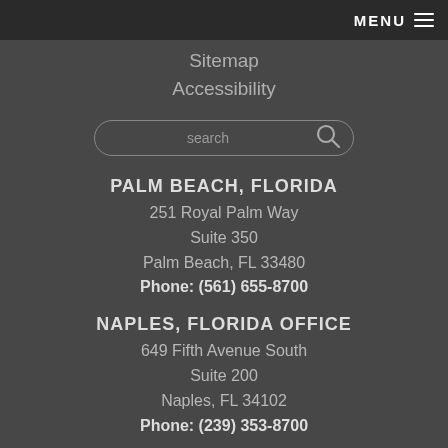MENU ☰
Sitemap
Accessibility
search
PALM BEACH, FLORIDA
251 Royal Palm Way
Suite 350
Palm Beach, FL 33480
Phone: (561) 655-8700
NAPLES, FLORIDA OFFICE
649 Fifth Avenue South
Suite 200
Naples, FL 34102
Phone: (239) 353-8700
MIAMI, FLORIDA OFFICE
1200 Brickell Avenue
Suite 1950